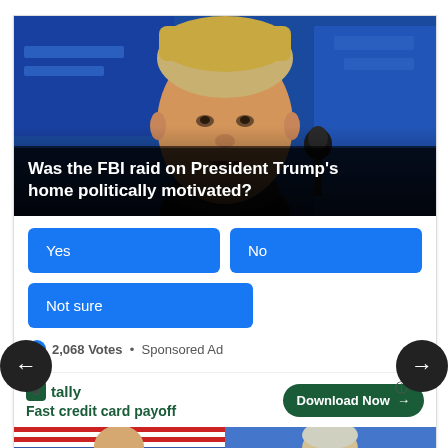[Figure (photo): Photo of Donald Trump speaking at a podium with a microphone, against a blue background with partial text/logos visible. Dark overlay at the bottom with white bold text reading: Was the FBI raid on President Trump's home politically motivated?]
Was the FBI raid on President Trump's home politically motivated?
Yes
No
Not sure
2,068 Votes  •  Sponsored Ad
[Figure (screenshot): Tally advertisement banner: green Tally logo, text 'Fast credit card payoff', and a 'Download Now' button with arrow]
[Figure (photo): Two partial photos at the bottom: left shows a man in a suit against a US flag backdrop, right shows an older person against a blue background]